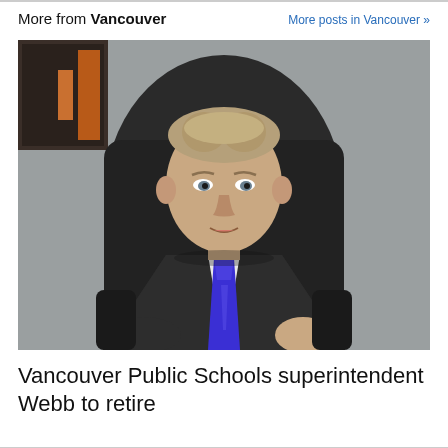More from Vancouver
More posts in Vancouver »
[Figure (photo): A man in a dark suit with a blue tie sits in a black leather chair in an office setting. He is middle-aged with short blond/grey hair, and there is a dark artwork on the wall behind him.]
Vancouver Public Schools superintendent Webb to retire